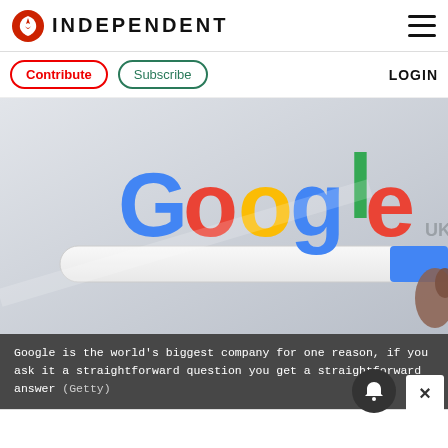INDEPENDENT
Contribute  Subscribe  LOGIN
[Figure (photo): Google UK search homepage displayed on a screen, showing the colorful Google logo with 'UK' subscript. A finger is visible touching or pointing at the right edge of the screen.]
Google is the world’s biggest company for one reason, if you ask it a straightforward question you get a straightforward answer (Getty)